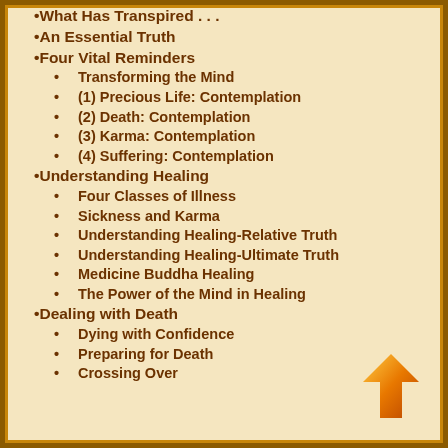What Has Transpired . . .
An Essential Truth
Four Vital Reminders
Transforming the Mind
(1) Precious Life: Contemplation
(2) Death: Contemplation
(3) Karma: Contemplation
(4) Suffering: Contemplation
Understanding Healing
Four Classes of Illness
Sickness and Karma
Understanding Healing-Relative Truth
Understanding Healing-Ultimate Truth
Medicine Buddha Healing
The Power of the Mind in Healing
Dealing with Death
Dying with Confidence
Preparing for Death
Crossing Over
[Figure (illustration): Orange upward-pointing arrow icon in the bottom right corner]